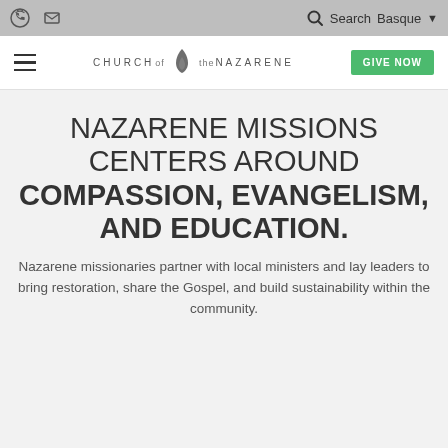Church of the Nazarene — navigation bar with phone, mail, search, Basque language selector, hamburger menu, logo, and GIVE NOW button
NAZARENE MISSIONS CENTERS AROUND COMPASSION, EVANGELISM, AND EDUCATION.
Nazarene missionaries partner with local ministers and lay leaders to bring restoration, share the Gospel, and build sustainability within the community.